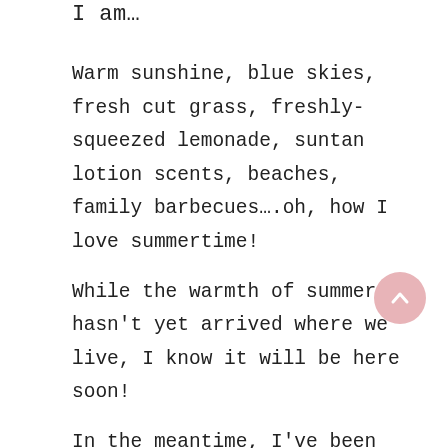I am…
Warm sunshine, blue skies, fresh cut grass, freshly-squeezed lemonade, suntan lotion scents, beaches, family barbecues….oh, how I love summertime!
While the warmth of summer hasn't yet arrived where we live, I know it will be here soon!
In the meantime, I've been diffusing some of my favorite summertime